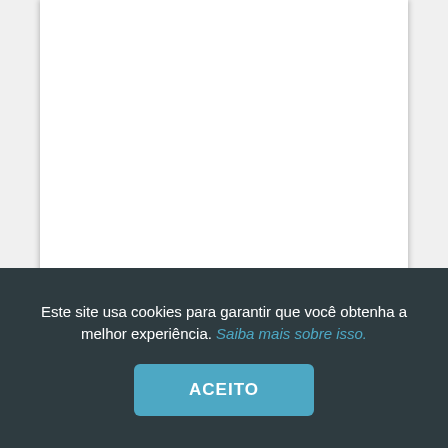[Figure (screenshot): White document area shown on a light grey background, representing a web page with a cookie consent overlay.]
Este site usa cookies para garantir que você obtenha a melhor experiência. Saiba mais sobre isso.
ACEITO